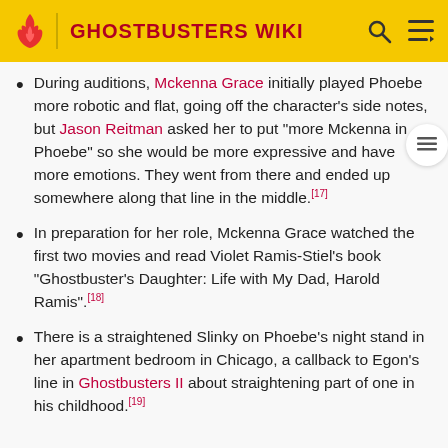GHOSTBUSTERS WIKI
During auditions, Mckenna Grace initially played Phoebe more robotic and flat, going off the character's side notes, but Jason Reitman asked her to put "more Mckenna in Phoebe" so she would be more expressive and have more emotions. They went from there and ended up somewhere along that line in the middle.[17]
In preparation for her role, Mckenna Grace watched the first two movies and read Violet Ramis-Stiel's book "Ghostbuster's Daughter: Life with My Dad, Harold Ramis".[18]
There is a straightened Slinky on Phoebe's night stand in her apartment bedroom in Chicago, a callback to Egon's line in Ghostbusters II about straightening part of one in his childhood.[19]